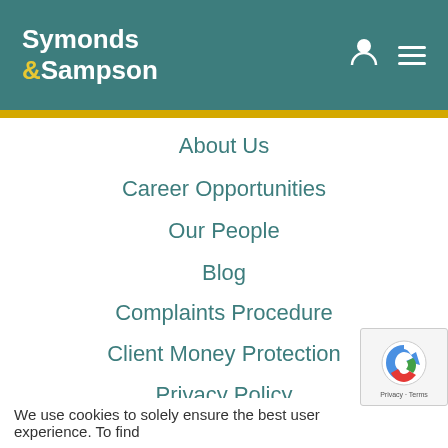Symonds & Sampson
About Us
Career Opportunities
Our People
Blog
Complaints Procedure
Client Money Protection
Privacy Policy
Website Terms of Use
Staff Area
[Figure (logo): reCAPTCHA badge with logo and Privacy - Terms text]
We use cookies to solely ensure the best user experience. To find